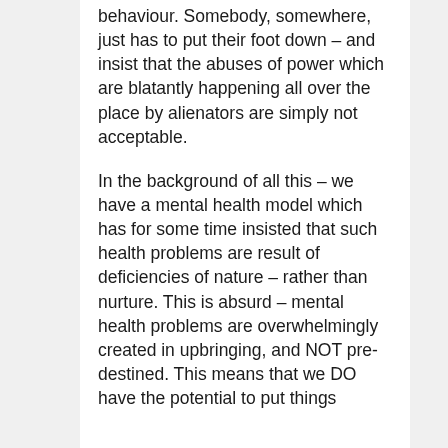behaviour. Somebody, somewhere, just has to put their foot down – and insist that the abuses of power which are blatantly happening all over the place by alienators are simply not acceptable.
In the background of all this – we have a mental health model which has for some time insisted that such health problems are result of deficiencies of nature – rather than nurture. This is absurd – mental health problems are overwhelmingly created in upbringing, and NOT pre-destined. This means that we DO have the potential to put things